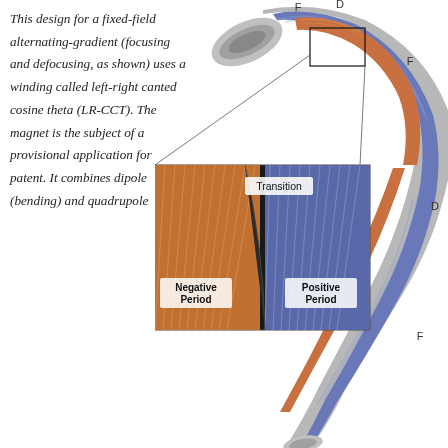This design for a fixed-field alternating-gradient (focusing and defocusing, as shown) uses a winding called left-right canted cosine theta (LR-CCT). The magnet is the subject of a provisional application for patent. It combines dipole (bending) and quadrupole
[Figure (engineering-diagram): 3D rendering of a curved LR-CCT magnet arc showing blue/purple and copper/brown coil windings around a grey structural form. Labels F, D, F, D, F mark focusing and defocusing regions along the arc. An inset zoom box highlights the transition region between Negative Period (copper-colored windings) and Positive Period (blue windings), with labels 'Transition', 'Negative Period', and 'Positive Period'.]